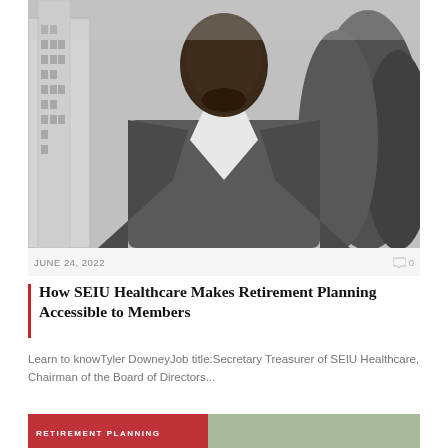[Figure (photo): Black and white photograph of a man in a grey blazer and white shirt standing outdoors with a building and trees in the background]
JUNE 24, 2022
0
How SEIU Healthcare Makes Retirement Planning Accessible to Members
Learn to knowTyler DowneyJob title:Secretary Treasurer of SEIU Healthcare, Chairman of the Board of Directors...
[Figure (photo): Partially visible bottom image with RETIREMENT PLANNING label in red]